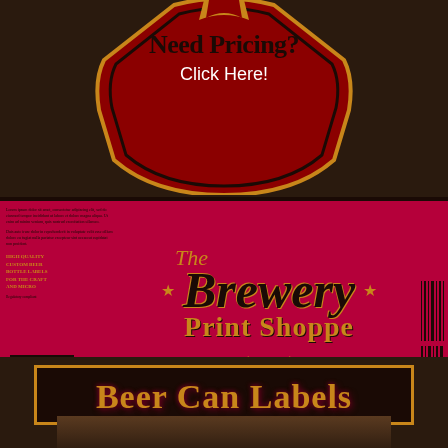[Figure (illustration): Beer bottle neck label in dark red/crimson with gold border, shaped like a traditional neck label with curved top and bottom edges. Contains text 'Need Pricing? Click Here!']
Need Pricing?
Click Here!
[Figure (illustration): Main brewery label banner in crimson red with gold text reading 'The Brewery Print Shoppe', flanked by gold stars, wheat wreath decoration and hop illustration. Left side has small text and a QR code. Right side has barcode lines.]
The Brewery Print Shoppe
[Figure (illustration): Dark brown section with gold-bordered box containing 'Beer Can Labels' text in gold with glow effect, and a photo strip at the bottom showing can labels.]
Beer Can Labels